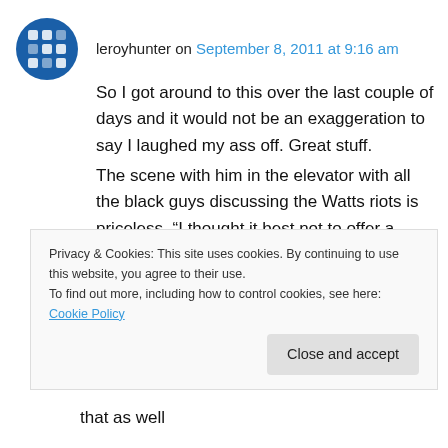leroyhunter on September 8, 2011 at 9:16 am
So I got around to this over the last couple of days and it would not be an exaggeration to say I laughed my ass off. Great stuff.
The scene with him in the elevator with all the black guys discussing the Watts riots is priceless. “I thought it best not to offer a comment at that time.” Indeed.
I also loved the young nut Janko who nearly sends him mad with his endless rants, ending in
Privacy & Cookies: This site uses cookies. By continuing to use this website, you agree to their use.
To find out more, including how to control cookies, see here: Cookie Policy
that as well